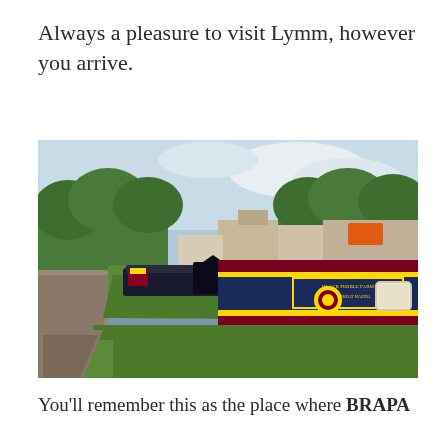Always a pleasure to visit Lymm, however you arrive.
[Figure (photo): Canal-side scene in Lymm showing narrowboats moored along a towpath. The foreground shows a gravel footpath with green grass banks leading to the canal. Several narrowboats are moored, predominantly dark navy blue and maroon with gold lettering and trim. Buildings and trees are visible in the background under a partly cloudy sky.]
You'll remember this as the place where BRAPA